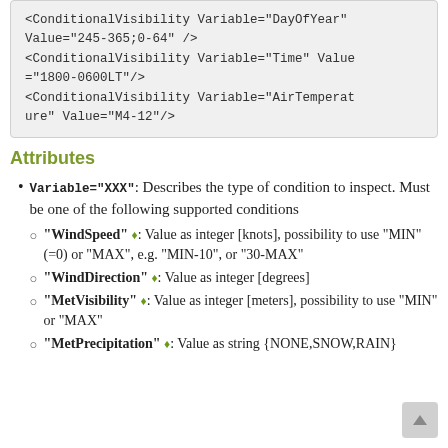<ConditionalVisibility Variable="DayOfYear" Value="245-365;0-64" />
<ConditionalVisibility Variable="Time" Value="1800-0600LT"/>
<ConditionalVisibility Variable="AirTemperature" Value="M4-12"/>
Attributes
Variable="XXX": Describes the type of condition to inspect. Must be one of the following supported conditions
"WindSpeed" ♦: Value as integer [knots], possibility to use "MIN" (=0) or "MAX", e.g. "MIN-10", or "30-MAX"
"WindDirection" ♦: Value as integer [degrees]
"MetVisibility" ♦: Value as integer [meters], possibility to use "MIN" or "MAX"
"MetPrecipitation" ♦: Value as string {NONE,SNOW,RAIN}